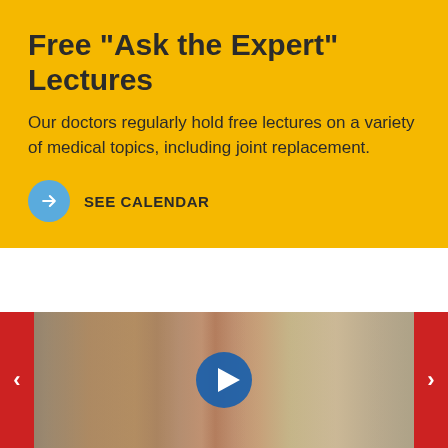Free "Ask the Expert" Lectures
Our doctors regularly hold free lectures on a variety of medical topics, including joint replacement.
SEE CALENDAR
[Figure (photo): Video thumbnail showing an elderly man outdoors in front of a stone/brick wall, with a blue play button centered on the image. Red navigation arrows on left and right sides.]